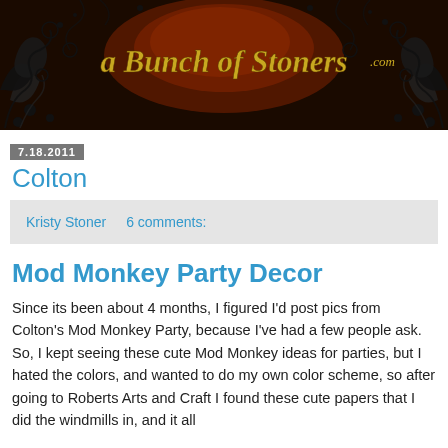[Figure (illustration): Blog header banner for 'A Bunch of Stoners .com' with dark brown/black background, decorative swirl/floral flourishes, and stylized gold italic text logo]
7.18.2011
Colton
Kristy Stoner    6 comments:
Mod Monkey Party Decor
Since its been about 4 months, I figured I'd post pics from Colton's Mod Monkey Party, because I've had a few people ask. So, I kept seeing these cute Mod Monkey ideas for parties, but I hated the colors, and wanted to do my own color scheme, so after going to Roberts Arts and Craft I found these cute papers that I did the windmills in, and it all